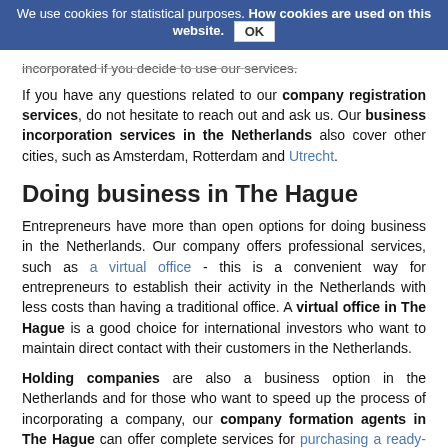We use cookies for statistical purposes. How cookies are used on this website. OK
incorporated if you decide to use our services.
If you have any questions related to our company registration services, do not hesitate to reach out and ask us. Our business incorporation services in the Netherlands also cover other cities, such as Amsterdam, Rotterdam and Utrecht.
Doing business in The Hague
Entrepreneurs have more than open options for doing business in the Netherlands. Our company offers professional services, such as a virtual office - this is a convenient way for entrepreneurs to establish their activity in the Netherlands with less costs than having a traditional office. A virtual office in The Hague is a good choice for international investors who want to maintain direct contact with their customers in the Netherlands.
Holding companies are also a business option in the Netherlands and for those who want to speed up the process of incorporating a company, our company formation agents in The Hague can offer complete services for purchasing a ready-made company.
Why start a business in The Hague?
The Hague is one of the largest cities in the Netherlands and the